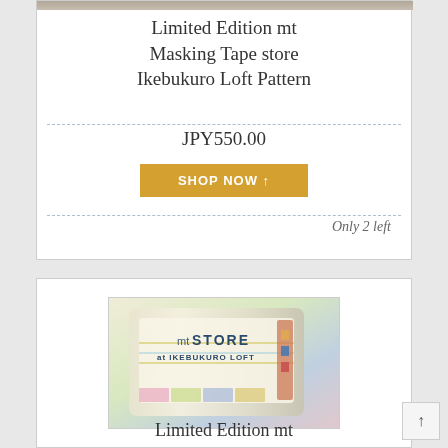[Figure (photo): Partial top of first product image (cropped at top of page)]
Limited Edition mt Masking Tape store Ikebukuro Loft Pattern
JPY550.00
SHOP NOW ↑
Only 2 left
[Figure (photo): Photo of mt STORE at IKEBUKURO LOFT masking tape rolls bundled together, showing colorful washi tape patterns]
Limited Edition mt